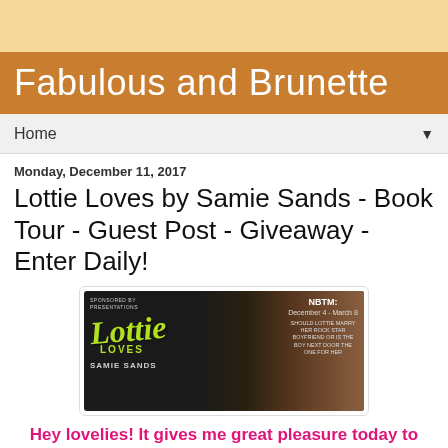Fabulous and Brunette
Home
Monday, December 11, 2017
Lottie Loves by Samie Sands - Book Tour - Guest Post - Giveaway - Enter Daily!
[Figure (illustration): Book banner for 'Lottie Loves' by Samie Sands showing a shirtless man with green brush-script title text on dark background. NBTM dates December 4 - March 8 shown in top right corner.]
Hey lovelies! It gives me great pleasure today to host Samie Sands and her new